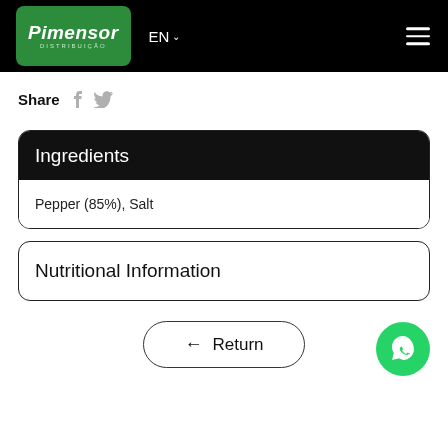Pimensor DISTRIBUIÇÃO — EN — Navigation menu
Share
Ingredients
Pepper (85%), Salt
Nutritional Information
← Return